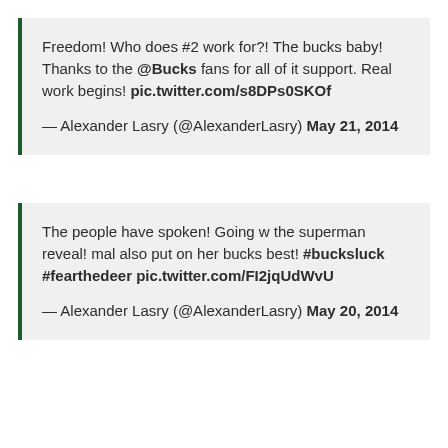Freedom! Who does #2 work for?! The bucks baby! Thanks to the @Bucks fans for all of it support. Real work begins! pic.twitter.com/s8DPs0SKOf

— Alexander Lasry (@AlexanderLasry) May 21, 2014
The people have spoken! Going w the superman reveal! mal also put on her bucks best! #bucksluck #fearthedeer pic.twitter.com/FI2jqUdWvU

— Alexander Lasry (@AlexanderLasry) May 20, 2014